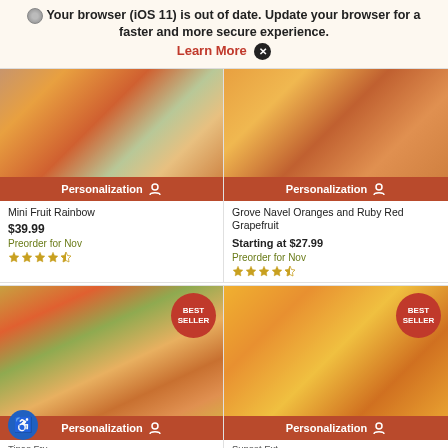Your browser (iOS 11) is out of date. Update your browser for a faster and more secure experience. Learn More X
[Figure (photo): Mini Fruit Rainbow product image showing citrus fruits in a decorated box]
Personalization
Mini Fruit Rainbow
$39.99
Preorder for Nov
[Figure (other): 4.5 star rating]
[Figure (photo): Grove Navel Oranges and Ruby Red Grapefruit product image]
Personalization
Grove Navel Oranges and Ruby Red Grapefruit
Starting at $27.99
Preorder for Nov
[Figure (other): 4.5 star rating]
[Figure (photo): Best Seller mixed fruit basket with apples pears and oranges]
Personalization
[Figure (photo): Best Seller citrus orange box]
Personalization